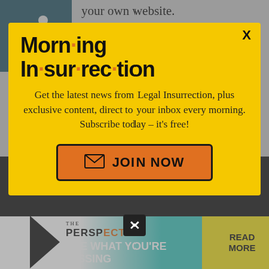your own website.
I would say more, but it's late. WordPress software is free and open source, so anyone can use it. What is
[Figure (screenshot): Accessibility wheelchair icon in teal/dark blue box]
Morn·ing In·sur·rec·tion
Get the latest news from Legal Insurrection, plus exclusive content, direct to your inbox every morning. Subscribe today – it's free!
JOIN NOW (button with envelope icon)
DDOS, like for example, CloudFlare you are going to have to trust them.
[Figure (infographic): Bottom advertisement banner: THE PERSPECTIVE - SEE WHAT YOU'RE MISSING - READ MORE]
addresses, which means that you need